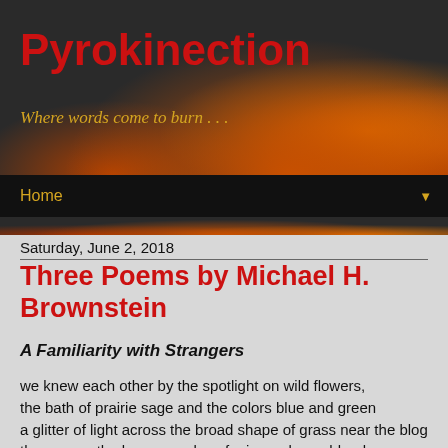Pyrokinection
Where words come to burn . . .
Home
Saturday, June 2, 2018
Three Poems by Michael H. Brownstein
A Familiarity with Strangers
we knew each other by the spotlight on wild flowers,
the bath of prairie sage and the colors blue and green
a glitter of light across the broad shape of grass near the blog
the swamp the busy muscles of mire and marshlands
a wave of thistle and a blockade of thorny rosebush